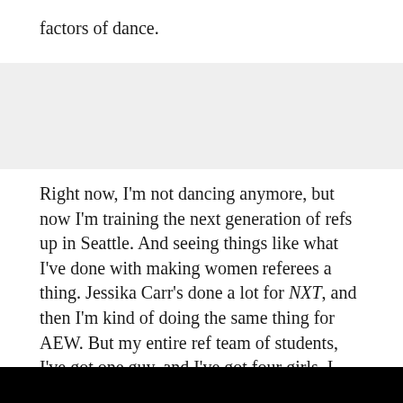factors of dance.
Right now, I'm not dancing anymore, but now I'm training the next generation of refs up in Seattle. And seeing things like what I've done with making women referees a thing. Jessika Carr's done a lot for NXT, and then I'm kind of doing the same thing for AEW. But my entire ref team of students, I've got one guy, and I've got four girls. I literally in my last independent show we had four women referees on the roster. Completely organically, it's not like we